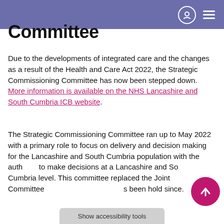Committee
Due to the developments of integrated care and the changes as a result of the Health and Care Act 2022, the Strategic Commissioning Committee has now been stepped down. More information is available on the NHS Lancashire and South Cumbria ICB website.
The Strategic Commissioning Committee ran up to May 2022 with a primary role to focus on delivery and decision making for the Lancashire and South Cumbria population with the authority to make decisions at a Lancashire and South Cumbria level. This committee replaced the Joint Committee... has been held since.